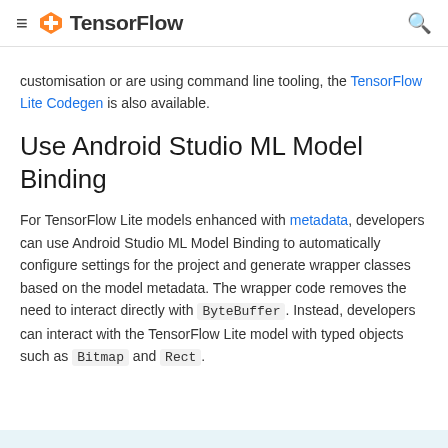≡  TensorFlow  🔍
customisation or are using command line tooling, the TensorFlow Lite Codegen is also available.
Use Android Studio ML Model Binding
For TensorFlow Lite models enhanced with metadata, developers can use Android Studio ML Model Binding to automatically configure settings for the project and generate wrapper classes based on the model metadata. The wrapper code removes the need to interact directly with ByteBuffer. Instead, developers can interact with the TensorFlow Lite model with typed objects such as Bitmap and Rect.